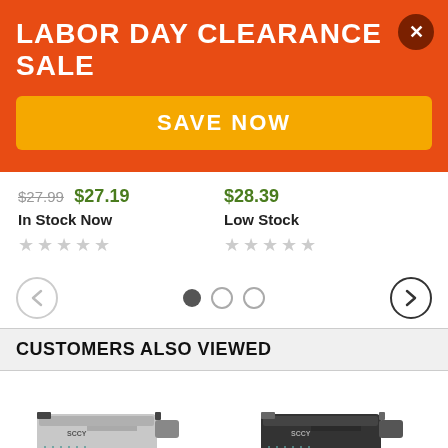LABOR DAY CLEARANCE SALE
SAVE NOW
$27.99  $27.19  In Stock Now
$28.39  Low Stock
CUSTOMERS ALSO VIEWED
[Figure (photo): Two compact pistols with teal/seafoam grips and silver/black slides, shown side by side]